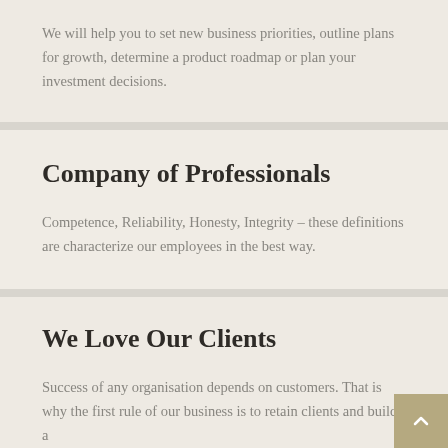We will help you to set new business priorities, outline plans for growth, determine a product roadmap or plan your investment decisions.
Company of Professionals
Competence, Reliability, Honesty, Integrity – these definitions are characterize our employees in the best way.
We Love Our Clients
Success of any organisation depends on customers. That is why the first rule of our business is to retain clients and build a